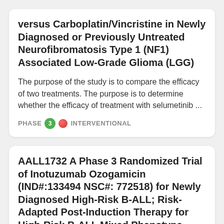versus Carboplatin/Vincristine in Newly Diagnosed or Previously Untreated Neurofibromatosis Type 1 (NF1) Associated Low-Grade Glioma (LGG)
The purpose of the study is to compare the efficacy of two treatments. The purpose is to determine whether the efficacy of treatment with selumetinib ...
PHASE 3 INTERVENTIONAL
AALL1732 A Phase 3 Randomized Trial of Inotuzumab Ozogamicin (IND#:133494 NSC#: 772518) for Newly Diagnosed High-Risk B-ALL&semi; Risk-Adapted Post-Induction Therapy for High-Risk B-ALL Mixed Phenotype